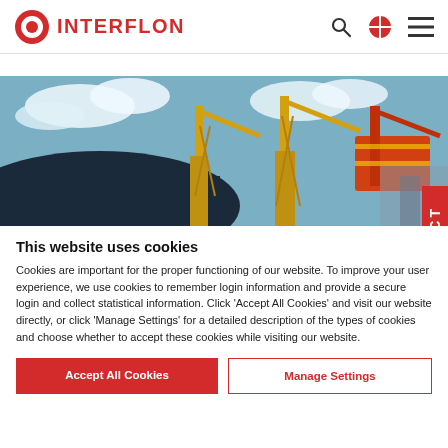INTERFLON
[Figure (photo): Industrial port scene with large ship hull and yellow cranes against a blue sky]
This website uses cookies
Cookies are important for the proper functioning of our website. To improve your user experience, we use cookies to remember login information and provide a secure login and collect statistical information. Click 'Accept All Cookies' and visit our website directly, or click 'Manage Settings' for a detailed description of the types of cookies and choose whether to accept these cookies while visiting our website.
Accept All Cookies
Manage Settings